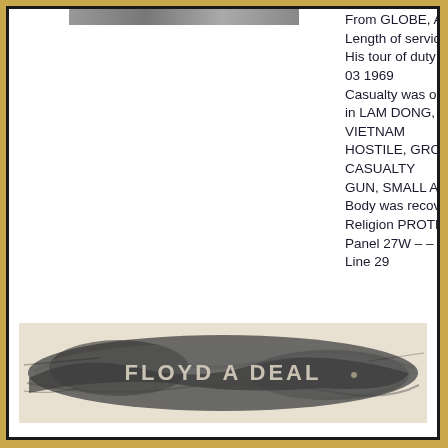[Figure (photo): Partial photograph at top of page, partially visible]
From GLOBE, ARIZONA Length of service 1 year. His tour of duty began on Feb 03 1969 Casualty was on Apr 07 1969 in LAM DONG, SOUTH VIETNAM HOSTILE, GROUND CASUALTY GUN, SMALL ARMS FIRE Body was recovered Religion PROTESTANT Panel 27W – – Line 29
[Figure (photo): Vietnam Memorial Wall name rubbing showing FLOYD A DEAL]